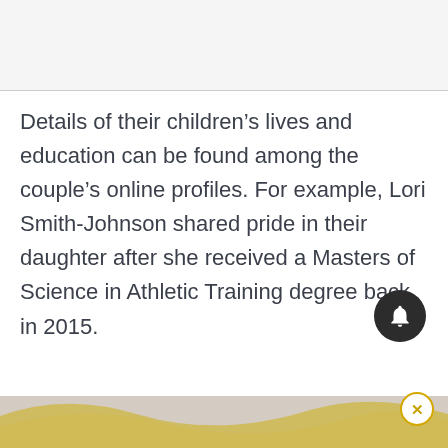Details of their children’s lives and education can be found among the couple’s online profiles. For example, Lori Smith-Johnson shared pride in their daughter after she received a Masters of Science in Athletic Training degree back in 2015.